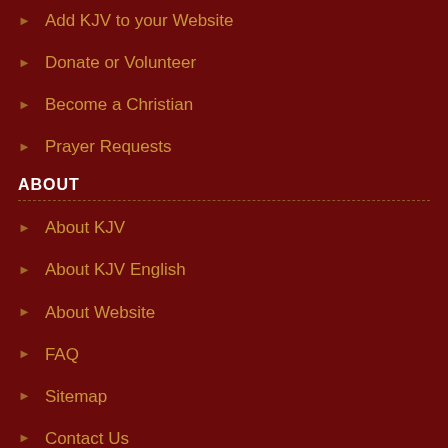Add KJV to your Website
Donate or Volunteer
Become a Christian
Prayer Requests
ABOUT
About KJV
About KJV English
About Website
FAQ
Sitemap
Contact Us